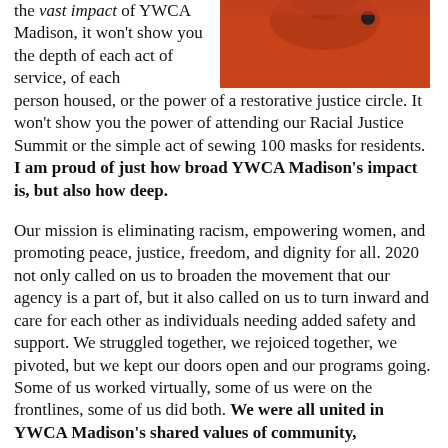[Figure (photo): Partial photo of a person wearing a red/orange top, cropped showing torso/shoulder area in upper right of page]
the vast impact of YWCA Madison, it won't show you the depth of each act of service, of each person housed, or the power of a restorative justice circle. It won't show you the power of attending our Racial Justice Summit or the simple act of sewing 100 masks for residents. I am proud of just how broad YWCA Madison's impact is, but also how deep.
Our mission is eliminating racism, empowering women, and promoting peace, justice, freedom, and dignity for all. 2020 not only called on us to broaden the movement that our agency is a part of, but it also called on us to turn inward and care for each other as individuals needing added safety and support. We struggled together, we rejoiced together, we pivoted, but we kept our doors open and our programs going. Some of us worked virtually, some of us were on the frontlines, some of us did both. We were all united in YWCA Madison's shared values of community, humanity,